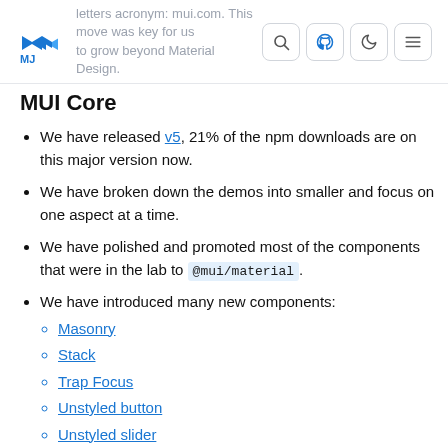MUI logo header with navigation icons and background text: letters acronym: mui.com. This move was key for us to grow beyond Material Design.
MUI Core
We have released v5, 21% of the npm downloads are on this major version now.
We have broken down the demos into smaller and focus on one aspect at a time.
We have polished and promoted most of the components that were in the lab to @mui/material.
We have introduced many new components:
Masonry
Stack
Trap Focus
Unstyled button
Unstyled slider